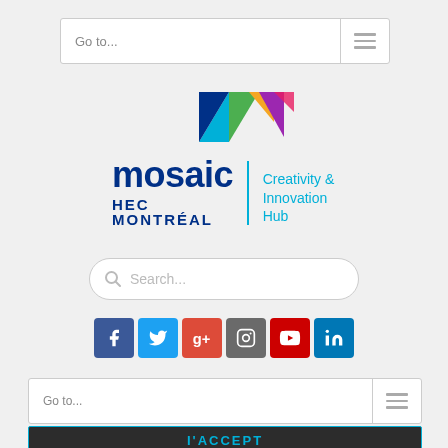Go to...
[Figure (logo): Mosaic HEC Montreal Creativity & Innovation Hub logo with colorful geometric triangles]
Search...
[Figure (infographic): Social media icons row: Facebook, Twitter, Google+, Instagram, YouTube, LinkedIn]
Go to...
I'ACCEPT